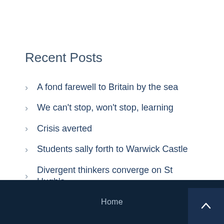Recent Posts
A fond farewell to Britain by the sea
We can't stop, won't stop, learning
Crisis averted
Students sally forth to Warwick Castle
Divergent thinkers converge on St Hugh's
Home